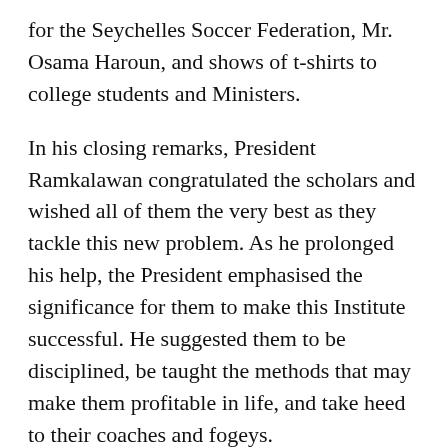for the Seychelles Soccer Federation, Mr. Osama Haroun, and shows of t-shirts to college students and Ministers.
In his closing remarks, President Ramkalawan congratulated the scholars and wished all of them the very best as they tackle this new problem. As he prolonged his help, the President emphasised the significance for them to make this Institute successful. He suggested them to be disciplined, be taught the methods that may make them profitable in life, and take heed to their coaches and fogeys.
“At present makes a brand new chapter within the Seychelles soccer; one which may be very fashionable amongst all Seychellois. Many gamers earlier than you may have tried to convey this sport to new heights and have made their mark. Now it’s your time to set new targets and date. Seize this chance bestowed on you and take